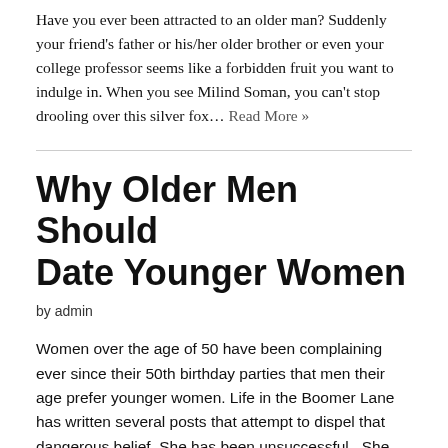Have you ever been attracted to an older man? Suddenly your friend's father or his/her older brother or even your college professor seems like a forbidden fruit you want to indulge in. When you see Milind Soman, you can't stop drooling over this silver fox… Read More »
Why Older Men Should Date Younger Women
by admin
Women over the age of 50 have been complaining ever since their 50th birthday parties that men their age prefer younger women. Life in the Boomer Lane has written several posts that attempt to dispel that dangerous belief. She has been unsuccessful.  She now